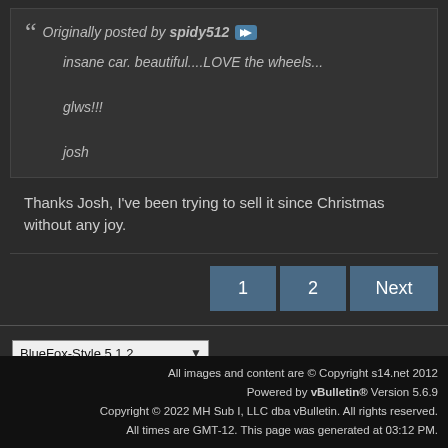Originally posted by spidy512
insane car. beautiful....LOVE the wheels...

glws!!!

josh
Thanks Josh, I've been trying to sell it since Christmas without any joy.
1  2  Next
BlueFox-Style 5.1.2
English (US)
Go to...
All images and content are © Copyright s14.net 2012
Powered by vBulletin® Version 5.6.9
Copyright © 2022 MH Sub I, LLC dba vBulletin. All rights reserved.
All times are GMT-12. This page was generated at 03:12 PM.